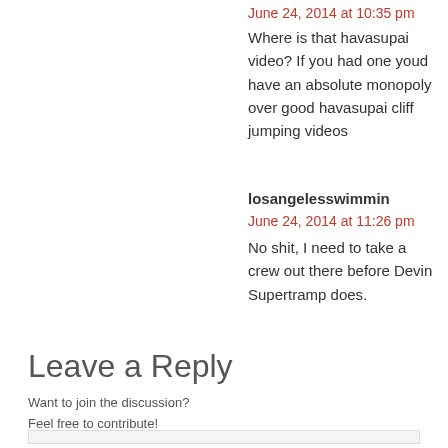June 24, 2014 at 10:35 pm
Where is that havasupai video? If you had one youd have an absolute monopoly over good havasupai cliff jumping videos
losangelesswimmin
June 24, 2014 at 11:26 pm
No shit, I need to take a crew out there before Devin Supertramp does.
Leave a Reply
Want to join the discussion?
Feel free to contribute!